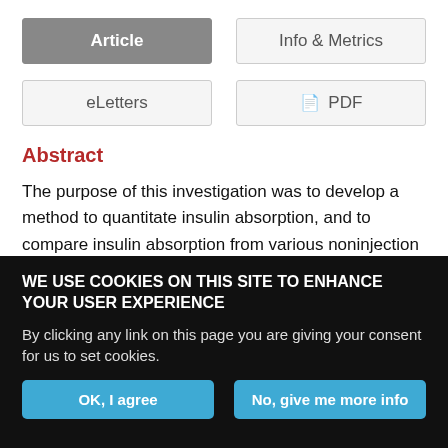Article
Info & Metrics
eLetters
PDF
Abstract
The purpose of this investigation was to develop a method to quantitate insulin absorption, and to compare insulin absorption from various noninjection sites of administration. Log dose/effect curves were established for i.m. insulin in adult male rats. The effects measured were the maximum change in plasma glucose
WE USE COOKIES ON THIS SITE TO ENHANCE YOUR USER EXPERIENCE
By clicking any link on this page you are giving your consent for us to set cookies.
OK, I agree
No, give me more info